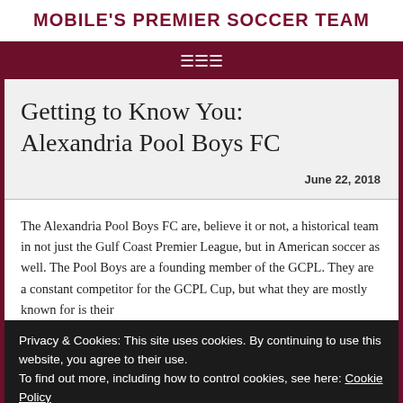MOBILE'S PREMIER SOCCER TEAM
Getting to Know You: Alexandria Pool Boys FC
June 22, 2018
The Alexandria Pool Boys FC are, believe it or not, a historical team in not just the Gulf Coast Premier League, but in American soccer as well. The Pool Boys are a founding member of the GCPL. They are a constant competitor for the GCPL Cup, but what they are mostly known for is their
Privacy & Cookies: This site uses cookies. By continuing to use this website, you agree to their use.
To find out more, including how to control cookies, see here: Cookie Policy
Close and accept
sitting in first place just outside of the playoffs, in a tough GCPL Western Conference. They will be challenging...